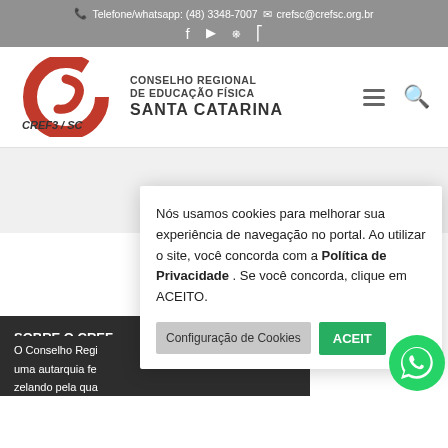📞 Telefone/whatsapp: (48) 3348-7007 ✉ crefsc@crefsc.org.br
[Figure (logo): CREF3/SC logo with red swirl C and text CONSELHO REGIONAL DE EDUCAÇÃO FÍSICA SANTA CATARINA]
Nós usamos cookies para melhorar sua experiência de navegação no portal. Ao utilizar o site, você concorda com a Política de Privacidade . Se você concorda, clique em ACEITO.
Configuração de Cookies | ACEITO
SOBRE O CREF
O Conselho Regi... uma autarquia fe... zelando pela qua... próprias dos prof...